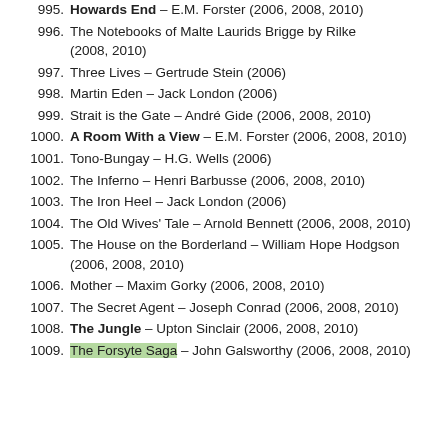995. Howards End – E.M. Forster (2006, 2008, 2010)
996. The Notebooks of Malte Laurids Brigge by Rilke (2008, 2010)
997. Three Lives – Gertrude Stein (2006)
998. Martin Eden – Jack London (2006)
999. Strait is the Gate – André Gide (2006, 2008, 2010)
1000. A Room With a View – E.M. Forster (2006, 2008, 2010)
1001. Tono-Bungay – H.G. Wells (2006)
1002. The Inferno – Henri Barbusse (2006, 2008, 2010)
1003. The Iron Heel – Jack London (2006)
1004. The Old Wives' Tale – Arnold Bennett (2006, 2008, 2010)
1005. The House on the Borderland – William Hope Hodgson (2006, 2008, 2010)
1006. Mother – Maxim Gorky (2006, 2008, 2010)
1007. The Secret Agent – Joseph Conrad (2006, 2008, 2010)
1008. The Jungle – Upton Sinclair (2006, 2008, 2010)
1009. The Forsyte Saga – John Galsworthy (2006, 2008, 2010)